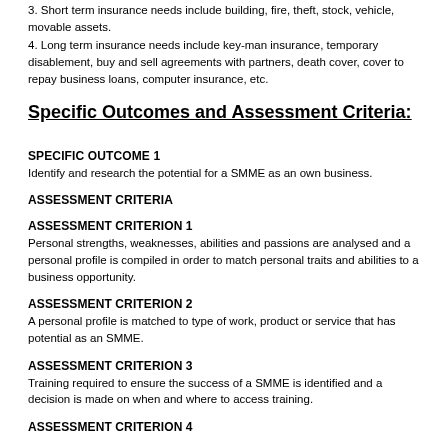3. Short term insurance needs include building, fire, theft, stock, vehicle, movable assets.
4. Long term insurance needs include key-man insurance, temporary disablement, buy and sell agreements with partners, death cover, cover to repay business loans, computer insurance, etc.
Specific Outcomes and Assessment Criteria:
SPECIFIC OUTCOME 1
Identify and research the potential for a SMME as an own business.
ASSESSMENT CRITERIA
ASSESSMENT CRITERION 1
Personal strengths, weaknesses, abilities and passions are analysed and a personal profile is compiled in order to match personal traits and abilities to a business opportunity.
ASSESSMENT CRITERION 2
A personal profile is matched to type of work, product or service that has potential as an SMME.
ASSESSMENT CRITERION 3
Training required to ensure the success of a SMME is identified and a decision is made on when and where to access training.
ASSESSMENT CRITERION 4